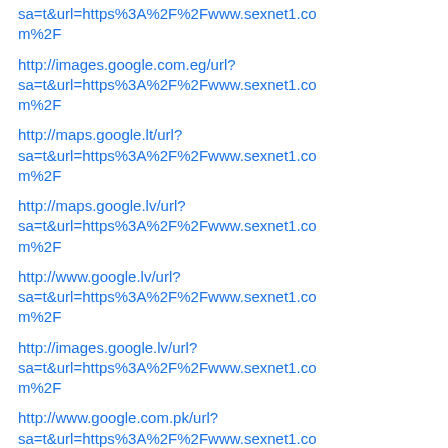sa=t&url=https%3A%2F%2Fwww.sexnet1.com%2F
http://images.google.com.eg/url?sa=t&url=https%3A%2F%2Fwww.sexnet1.com%2F
http://maps.google.lt/url?sa=t&url=https%3A%2F%2Fwww.sexnet1.com%2F
http://maps.google.lv/url?sa=t&url=https%3A%2F%2Fwww.sexnet1.com%2F
http://www.google.lv/url?sa=t&url=https%3A%2F%2Fwww.sexnet1.com%2F
http://images.google.lv/url?sa=t&url=https%3A%2F%2Fwww.sexnet1.com%2F
http://www.google.com.pk/url?sa=t&url=https%3A%2F%2Fwww.sexnet1.com%2F
http://images.google.com.pk/url?